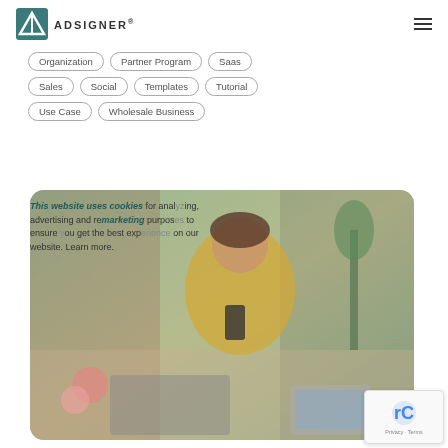ADSIGNER®
Organization
Partner Program
Saas
Sales
Social
Templates
Tutorial
Use Case
Wholesale Business
[Figure (photo): Woman in yellow cardigan sitting at a desk with laptop, tablet and flowers, looking at her phone, in a flower shop setting]
This website uses cookies for analyzing, advertising and remarketing purposes to ensure you get the best experience on our website. Learn more.